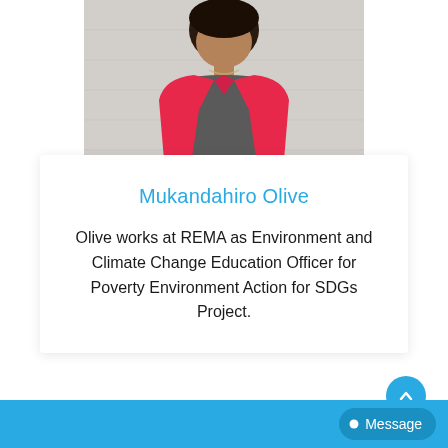[Figure (photo): Person wearing a bright pink/red blazer over a grey top, photographed from chest up against a light brick wall background]
Mukandahiro Olive
Olive works at REMA as Environment and Climate Change Education Officer for Poverty Environment Action for SDGs Project.
Message